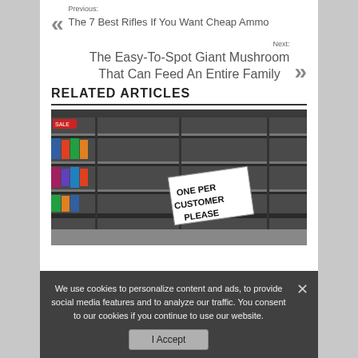Previous: The 7 Best Rifles If You Want Cheap Ammo
Next: The Easy-To-Spot Giant Mushroom That Can Feed An Entire Family
RELATED ARTICLES
[Figure (photo): Empty store shelves with a sign reading ONE PER CUSTOMER PLEASE]
We use cookies to personalize content and ads, to provide social media features and to analyze our traffic. You consent to our cookies if you continue to use our website.